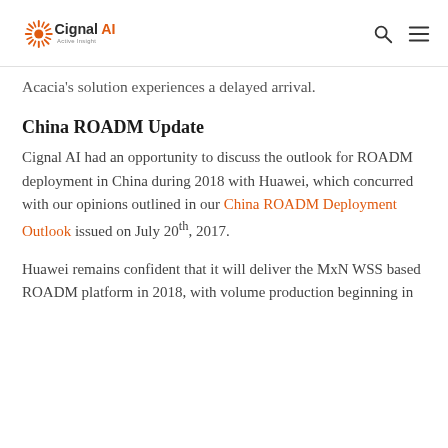Cignal AI — Active Insight
Acacia's solution experiences a delayed arrival.
China ROADM Update
Cignal AI had an opportunity to discuss the outlook for ROADM deployment in China during 2018 with Huawei, which concurred with our opinions outlined in our China ROADM Deployment Outlook issued on July 20th, 2017.
Huawei remains confident that it will deliver the MxN WSS based ROADM platform in 2018, with volume production beginning in